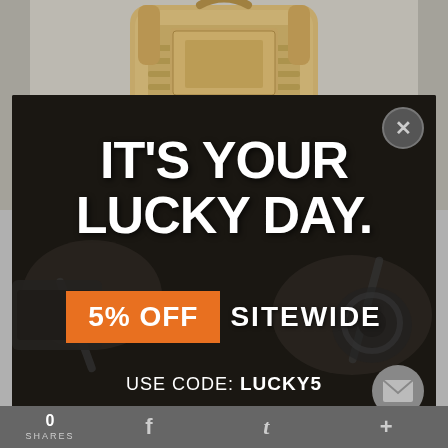[Figure (photo): Tan/khaki tactical backpack against a gray background, photographed from above/front]
[Figure (screenshot): Promotional popup modal on dark background with tools/gear, showing discount offer]
IT'S YOUR LUCKY DAY.
5% OFF SITEWIDE
USE CODE: LUCKY5
0 SHARES